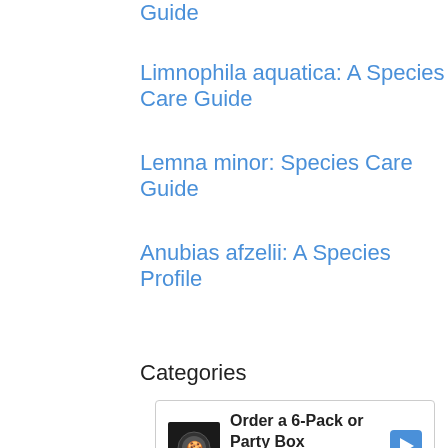Guide
Limnophila aquatica: A Species Care Guide
Lemna minor: Species Care Guide
Anubias afzelii: A Species Profile
Categories
[Figure (other): Advertisement banner for Crumbl Cookies - Ashburn: Order a 6-Pack or Party Box]